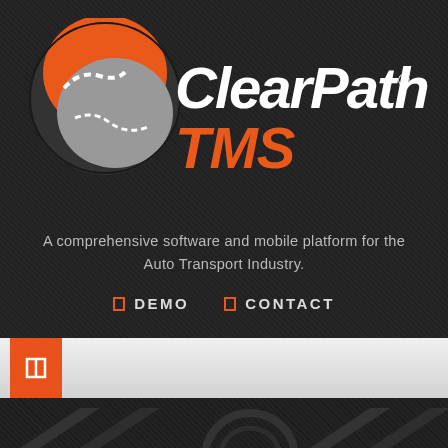[Figure (logo): ClearPath TMS logo with orange and grey circular road icon on left, and bold italic text 'ClearPath' in white and 'TMS' in orange with registered trademark symbol]
A comprehensive software and mobile platform for the Auto Transport Industry.
DEMO
CONTACT
[Figure (screenshot): Navigation bar with orange square button icon and grey bar background]
[Figure (illustration): Dark textured background with large watermark tire/wheel and arrow graphics in dark grey at bottom of page]